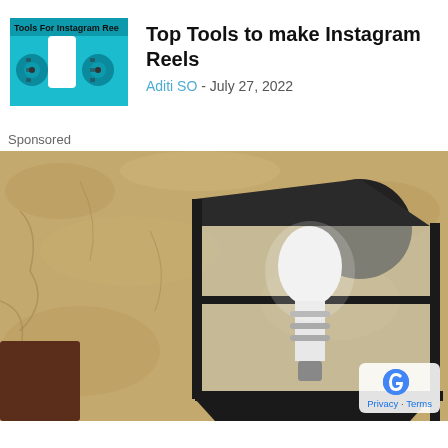[Figure (photo): Thumbnail image showing tools for Instagram Reels with teal background and film reel icons]
Top Tools to make Instagram Reels
Aditi SO - July 27, 2022
Sponsored
[Figure (photo): Close-up photo of a black metal outdoor wall lantern with a white light bulb, mounted on a textured stone wall]